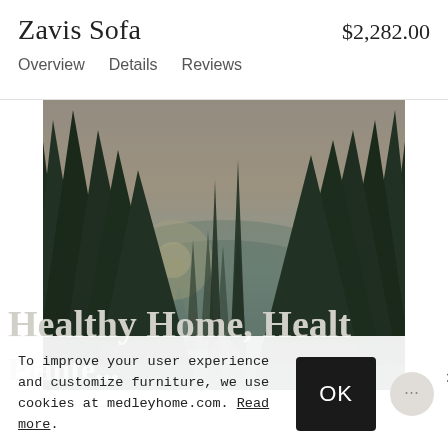Zavis Sofa
$2,282.00
Overview   Details   Reviews
[Figure (photo): Outdoor forest scene with tall pine/evergreen trees silhouetted against a soft warm sky, with misty light filtering through the trees and a path or water in the background.]
To improve your user experience and customize furniture, we use cookies at medleyhome.com. Read more.